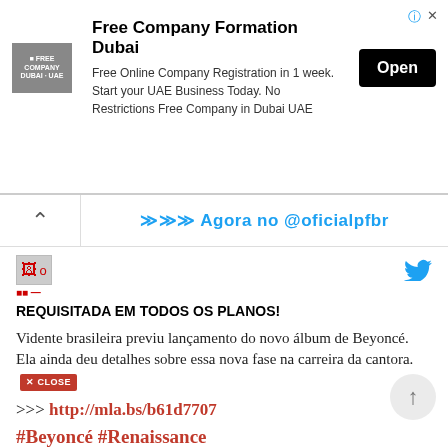[Figure (screenshot): Advertisement banner for Free Company Formation Dubai with logo, text, and Open button]
>>> Agora no @oficialpfbr
[Figure (other): Broken image icon with small avatar and red username text]
REQUISITADA EM TODOS OS PLANOS!
Vidente brasileira previu lançamento do novo álbum de Beyoncé. Ela ainda deu detalhes sobre essa nova fase na carreira da cantora.
>>> http://mla.bs/b61d7707
#Beyoncé #Renaissance